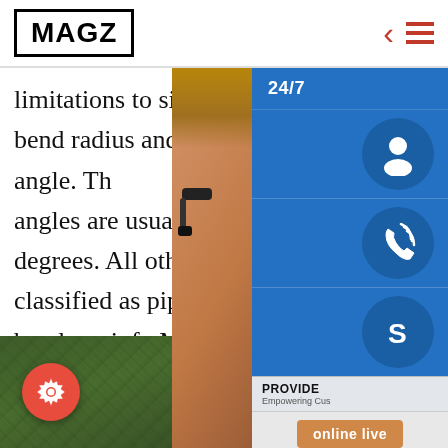MAGZ
limitations to size, bend radius and angle. The angles are usually 90 degrees. All others are classified as pipe bends.sp.info Mild Steel MS Pipe Manufacturer from Mumbai, Stocks a wide range of Mild Steel Elbow, been made by high quality raw material, available as per customers requirements, are supplied with relevant test certificates, finished products. Mild Steel Elbow Type; Mild Steel 90 Deg Elbow, Mild Steel 45 Deg Elbow, Mild Steel
[Figure (photo): Customer support representative with headset, overlaying a blue panel with 24/7 support icons (headset, phone, Skype), PROVIDE Empowering Customers text, and orange online live button]
[Figure (photo): Green foliage/bush background with a red circular settings/gear button on the left]